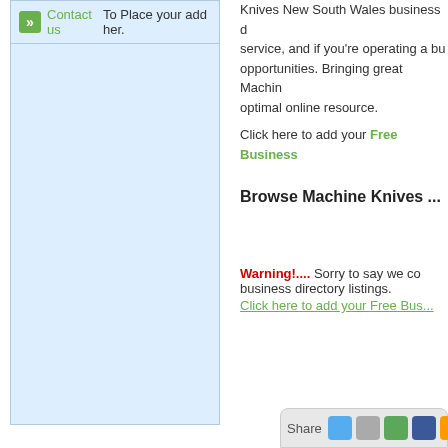Contact us To Place your add her.
Knives New South Wales business directory service, and if you're operating a business opportunities. Bringing great Machine Knives optimal online resource.
Click here to add your Free Business
Browse Machine Knives ...
Warning!.... Sorry to say we could not find any business directory listings. Click here to add your Free Business